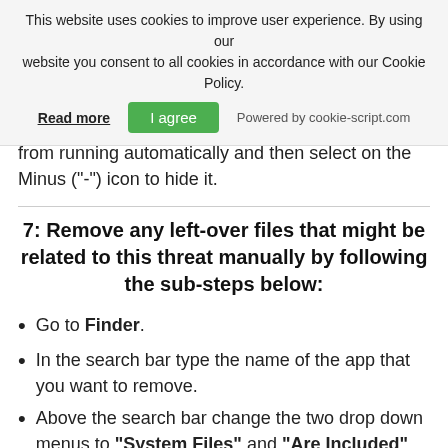This website uses cookies to improve user experience. By using our website you consent to all cookies in accordance with our Cookie Policy.
Read more | I agree | Powered by cookie-script.com
from running automatically and then select on the Minus ("-") icon to hide it.
7: Remove any left-over files that might be related to this threat manually by following the sub-steps below:
Go to Finder.
In the search bar type the name of the app that you want to remove.
Above the search bar change the two drop down menus to "System Files" and "Are Included" so that you can see all of the files associated with the application you want to remove. Bear in mind that some of the files